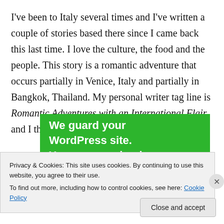I've been to Italy several times and I've written a couple of stories based there since I came back this last time. I love the culture, the food and the people. This story is a romantic adventure that occurs partially in Venice, Italy and partially in Bangkok, Thailand. My personal writer tag line is Romantic Adventures with an International Flair and I think this story epitomizes that tag line.
[Figure (other): Green advertisement banner reading 'We guard your WordPress site. You run your business.']
Privacy & Cookies: This site uses cookies. By continuing to use this website, you agree to their use.
To find out more, including how to control cookies, see here: Cookie Policy
Close and accept